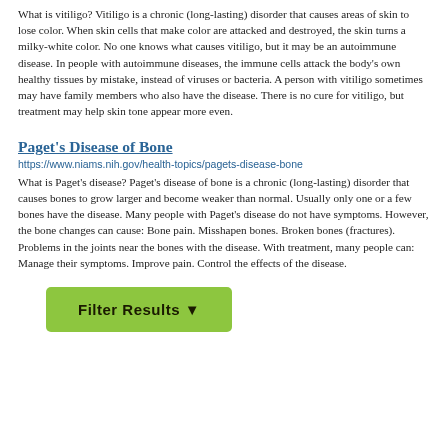What is vitiligo? Vitiligo is a chronic (long-lasting) disorder that causes areas of skin to lose color. When skin cells that make color are attacked and destroyed, the skin turns a milky-white color. No one knows what causes vitiligo, but it may be an autoimmune disease. In people with autoimmune diseases, the immune cells attack the body's own healthy tissues by mistake, instead of viruses or bacteria. A person with vitiligo sometimes may have family members who also have the disease. There is no cure for vitiligo, but treatment may help skin tone appear more even.
Paget's Disease of Bone
https://www.niams.nih.gov/health-topics/pagets-disease-bone
What is Paget's disease? Paget's disease of bone is a chronic (long-lasting) disorder that causes bones to grow larger and become weaker than normal. Usually only one or a few bones have the disease. Many people with Paget's disease do not have symptoms. However, the bone changes can cause: Bone pain. Misshapen bones. Broken bones (fractures). Problems in the joints near the bones with the disease. With treatment, many people can: Manage their symptoms. Improve pain. Control the effects of the disease.
Filter Results